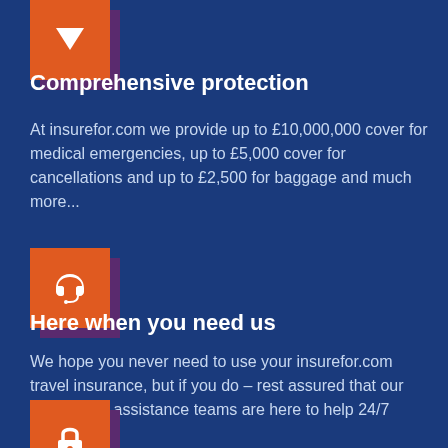[Figure (illustration): Orange icon box with purple shadow showing a shield/checkmark icon for comprehensive protection]
Comprehensive protection
At insurefor.com we provide up to £10,000,000 cover for medical emergencies, up to £5,000 cover for cancellations and up to £2,500 for baggage and much more...
[Figure (illustration): Orange icon box with purple shadow showing a headset icon for here when you need us]
Here when you need us
We hope you never need to use your insurefor.com travel insurance, but if you do – rest assured that our emergency assistance teams are here to help 24/7
[Figure (illustration): Orange icon box with purple shadow showing a padlock icon at the bottom of the page]